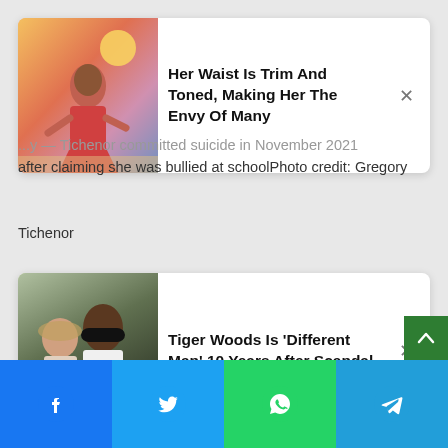[Figure (photo): Ad card 1: woman in red dress on beach/desert background. Headline: Her Waist Is Trim And Toned, Making Her The Envy Of Many]
...y — Tichenor committed suicide in November 2021 after claiming she was bullied at schoolPhoto credit: Gregory Tichenor
[Figure (photo): Ad card 2: Tiger Woods with another person. Headline: Tiger Woods Is 'Different Man' 10 Years After Scandal]
[Figure (photo): Main photo: A person holding up a smartphone displaying a photo of a young child smiling, person gesturing with other hand near face]
[Figure (infographic): Bottom social share bar with Facebook, Twitter, WhatsApp, and Telegram buttons]